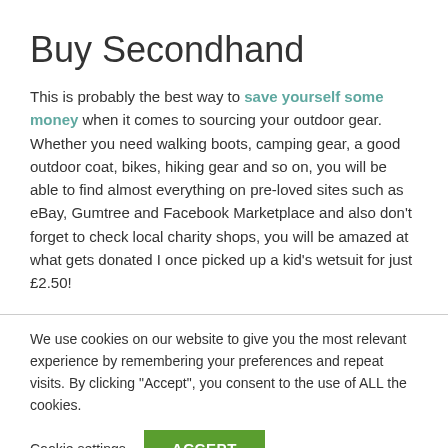Buy Secondhand
This is probably the best way to save yourself some money when it comes to sourcing your outdoor gear. Whether you need walking boots, camping gear, a good outdoor coat, bikes, hiking gear and so on, you will be able to find almost everything on pre-loved sites such as eBay, Gumtree and Facebook Marketplace and also don't forget to check local charity shops, you will be amazed at what gets donated I once picked up a kid's wetsuit for just £2.50!
We use cookies on our website to give you the most relevant experience by remembering your preferences and repeat visits. By clicking "Accept", you consent to the use of ALL the cookies.
Cookie settings
ACCEPT